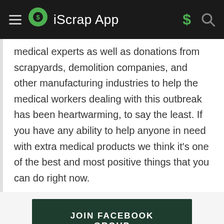iScrap App
medical experts as well as donations from scrapyards, demolition companies, and other manufacturing industries to help the medical workers dealing with this outbreak has been heartwarming, to say the least. If you have any ability to help anyone in need with extra medical products we think it's one of the best and most positive things that you can do right now.
JOIN FACEBOOK GROUP
Non-Ferrous Market News
While someone focuses on copper we want